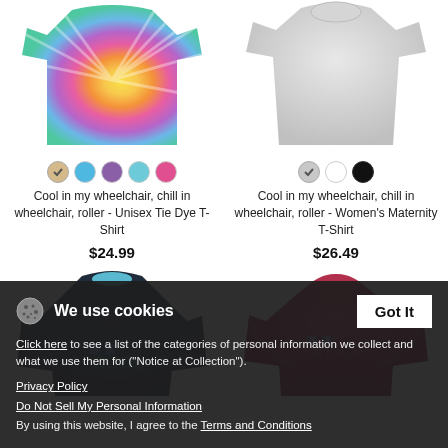[Figure (photo): Tie dye t-shirt product image with colorful spiral pattern]
[Figure (photo): Women's maternity t-shirt in light gray color]
Cool in my wheelchair, chill in wheelchair, roller - Unisex Tie Dye T-Shirt
$24.99
Cool in my wheelchair, chill in wheelchair, roller - Women's Maternity T-Shirt
$26.49
[Figure (photo): Dark navy long sleeve shirt with COOL graphic]
[Figure (photo): Dark red/maroon hoodie with COOL graphic]
We use cookies
Click here to see a list of the categories of personal information we collect and what we use them for ("Notice at Collection").
Privacy Policy
Do Not Sell My Personal Information
By using this website, I agree to the Terms and Conditions